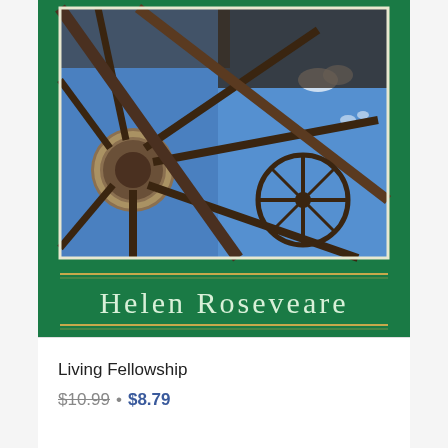[Figure (photo): Book cover for 'Living Fellowship' by Helen Roseveare. Green background with a photograph of a wooden wagon wheel structure viewed from below against a blue sky. Author name 'Helen Roseveare' displayed in light green serif font with gold decorative lines above and below.]
Living Fellowship
$10.99 • $8.79